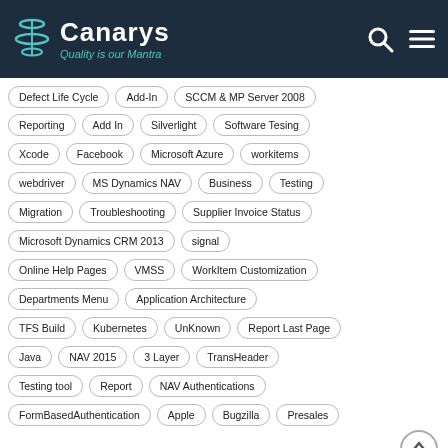Canarys — Quality is our Mantra
Defect Life Cycle
Add-In
SCCM & MP Server 2008
Reporting
Add In
Silverlight
Software Tesing
Xcode
Facebook
Microsoft Azure
workitems
webdriver
MS Dynamics NAV
Business
Testing
Migration
Troubleshooting
Supplier Invoice Status
Microsoft Dynamics CRM 2013
signal
Online Help Pages
VMSS
WorkItem Customization
Departments Menu
Application Architecture
TFS Build
Kubernetes
UnKnown
Report Last Page
Java
NAV 2015
3 Layer
TransHeader
Testing tool
Report
NAV Authentications
FormBasedAuthentication
Apple
Bugzilla
Presales